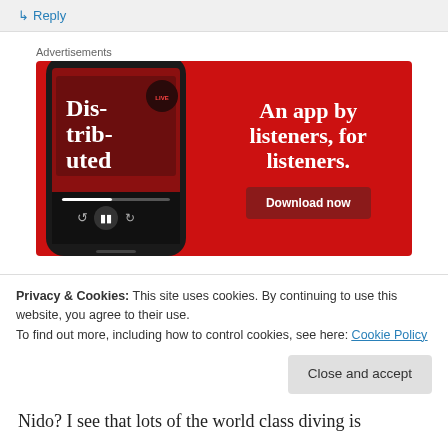↳ Reply
Advertisements
[Figure (illustration): Advertisement banner with red background showing a smartphone displaying a podcast app with 'Distributed' podcast, and text 'An app by listeners, for listeners.' with a 'Download now' button.]
Privacy & Cookies: This site uses cookies. By continuing to use this website, you agree to their use.
To find out more, including how to control cookies, see here: Cookie Policy
Close and accept
Nido? I see that lots of the world class diving is